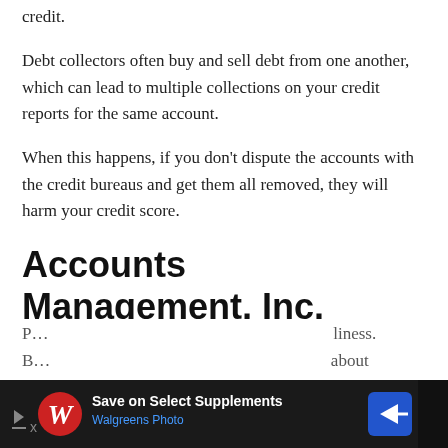credit.
Debt collectors often buy and sell debt from one another, which can lead to multiple collections on your credit reports for the same account.
When this happens, if you don't dispute the accounts with the credit bureaus and get them all removed, they will harm your credit score.
Accounts Management, Inc. Complaints
Most collection agencies have numerous complaints filed against them with the Consumer Financial P... B... about
[Figure (other): Walgreens Photo advertisement banner: 'Save on Select Supplements' with Walgreens Photo logo and navigation arrow icon]